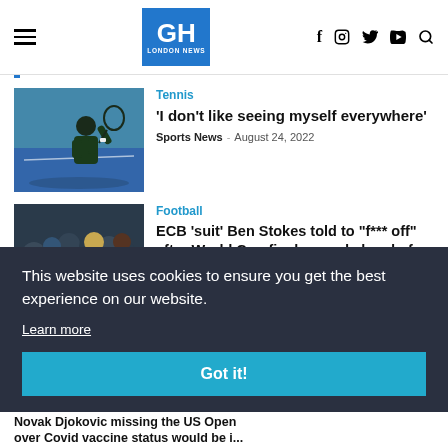GH LONDON NEWS - site header with hamburger menu, logo, and social icons (f, Instagram, Twitter, YouTube, Search)
Tennis
'I don't like seeing myself everywhere'
Sports News · August 24, 2022
[Figure (photo): Tennis player on court raising hand, holding racket, wearing dark green shirt]
Football
ECB 'suit' Ben Stokes told to "f*** off" after World Cup final named ahead of
[Figure (photo): Football crowd scene with people reacting, blonde woman visible]
This website uses cookies to ensure you get the best experience on our website.
Learn more
Got it!
Novak Djokovic missing the US Open over Covid vaccine status would be i...